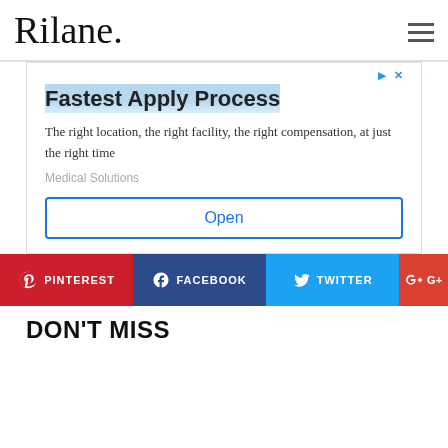Rilane.
[Figure (screenshot): Advertisement banner: 'Fastest Apply Process' - The right location, the right facility, the right compensation, at just the right time. Medical Solutions. Open button.]
PINTEREST
FACEBOOK
TWITTER
G+
DON'T MISS